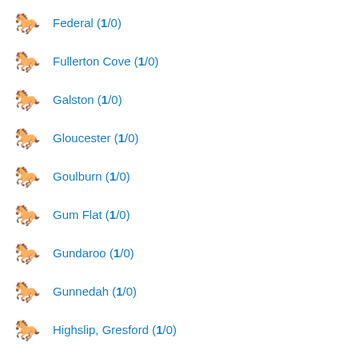Federal (1/0)
Fullerton Cove (1/0)
Galston (1/0)
Gloucester (1/0)
Goulburn (1/0)
Gum Flat (1/0)
Gundaroo (1/0)
Gunnedah (1/0)
Highslip, Gresford (1/0)